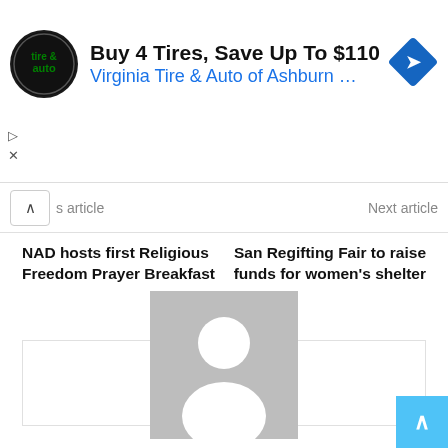[Figure (infographic): Advertisement banner: circular logo for 'tire & auto', text 'Buy 4 Tires, Save Up To $110' and 'Virginia Tire & Auto of Ashburn ...' in blue, with a blue diamond-shaped navigation icon on the right.]
s article
Next article
NAD hosts first Religious Freedom Prayer Breakfast
San Regifting Fair to raise funds for women's shelter
[Figure (photo): Default user avatar placeholder image (gray background with white silhouette of a person)]
bushbaby